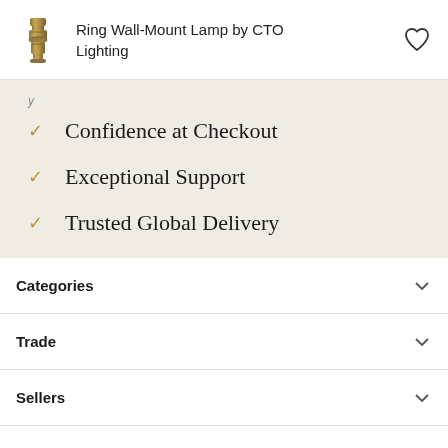Ring Wall-Mount Lamp by CTO Lighting
Confidence at Checkout
Exceptional Support
Trusted Global Delivery
Categories
Trade
Sellers
Our Company